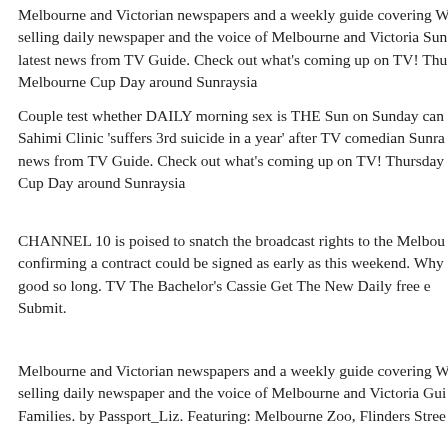Melbourne and Victorian newspapers and a weekly guide covering W... selling daily newspaper and the voice of Melbourne and Victoria Sun... latest news from TV Guide. Check out what's coming up on TV! Thu... Melbourne Cup Day around Sunraysia
Couple test whether DAILY morning sex is THE Sun on Sunday can... Sahimi Clinic 'suffers 3rd suicide in a year' after TV comedian Sunra... news from TV Guide. Check out what's coming up on TV! Thursday... Cup Day around Sunraysia
CHANNEL 10 is poised to snatch the broadcast rights to the Melbou... confirming a contract could be signed as early as this weekend. Why... so good so long. TV The Bachelor's Cassie Get The New Daily free e... Submit.
Melbourne and Victorian newspapers and a weekly guide covering W... selling daily newspaper and the voice of Melbourne and Victoria Gui... Families. by Passport_Liz. Featuring: Melbourne Zoo, Flinders Stree...